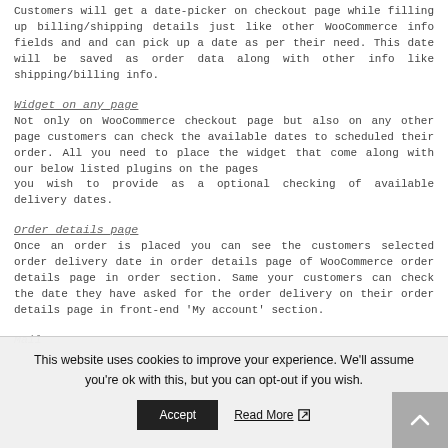Customers will get a date-picker on checkout page while filling up billing/shipping details just like other WooCommerce info fields and and can pick up a date as per their need. This date will be saved as order data along with other info like shipping/billing info.
Widget on any page
Not only on WooCommerce checkout page but also on any other page customers can check the available dates to scheduled their order. All you need to place the widget that come along with our below listed plugins on the pages
you wish to provide as a optional checking of available delivery dates.
Order details page
Once an order is placed you can see the customers selected order delivery date in order details page of WooCommerce order details page in order section. Same your customers can check the date they have asked for the order delivery on their order details page in front-end 'My account' section.
Mail
This website uses cookies to improve your experience. We'll assume you're ok with this, but you can opt-out if you wish.